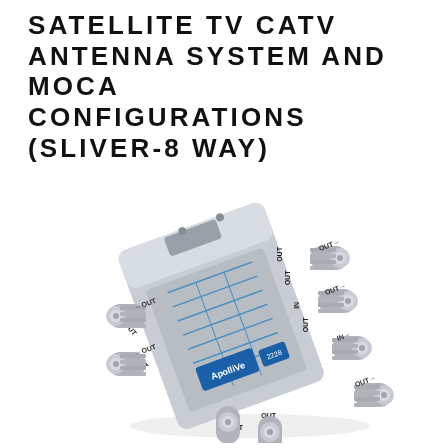SATELLITE TV CATV ANTENNA SYSTEM AND MOCA CONFIGURATIONS (SLIVER-8 WAY)
[Figure (photo): A silver 8-way coaxial cable splitter (Sliver-8 Way) shown at an angle, with multiple F-type connectors labeled OUT on multiple ports and one IN port. The device has a printed circuit diagram on its face and an ApolliVe brand logo with a blue certification badge.]